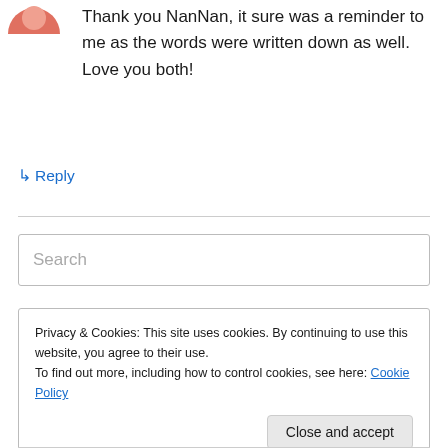[Figure (photo): Partial view of a circular avatar photo in the top-left corner]
Thank you NanNan, it sure was a reminder to me as the words were written down as well. Love you both!
↳ Reply
Search
Privacy & Cookies: This site uses cookies. By continuing to use this website, you agree to their use.
To find out more, including how to control cookies, see here: Cookie Policy
Close and accept